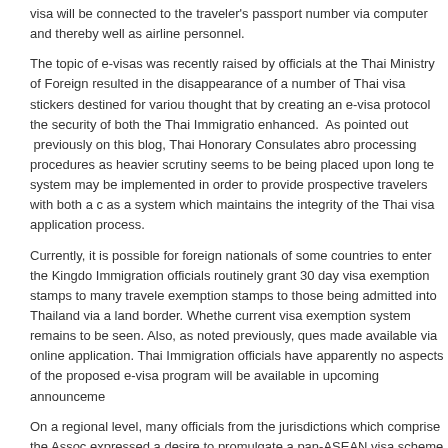visa will be connected to the traveler's passport number via computer and thereby well as airline personnel.
The topic of e-visas was recently raised by officials at the Thai Ministry of Foreign resulted in the disappearance of a number of Thai visa stickers destined for vario thought that by creating an e-visa protocol the security of both the Thai Immigratio enhanced. As pointed out previously on this blog, Thai Honorary Consulates abro processing procedures as heavier scrutiny seems to be being placed upon long te system may be implemented in order to provide prospective travelers with both a c as a system which maintains the integrity of the Thai visa application process.
Currently, it is possible for foreign nationals of some countries to enter the Kingdo Immigration officials routinely grant 30 day visa exemption stamps to many travele exemption stamps to those being admitted into Thailand via a land border. Whethe current visa exemption system remains to be seen. Also, as noted previously, ques made available via online application. Thai Immigration officials have apparently nc aspects of the proposed e-visa program will be available in upcoming announceme
On a regional level, many officials from the jurisdictions which comprise the Assoc expressed a desire to promulgate a pan-ASEAN visa scheme which would allow h ASEAN countries on one travel document. As of now, the prospect of a single ASE
Tags: ASEAN Visa, E-Visa, e-visa Thailand, Thai Business Visa, Thai e-visa, Thai Business Visa, Thailand e-visa, Thailand ED Visa, Thailand o visa, Thailand Visa,
Posted in ASEAN Visa, Thailand Visa | No Comments »